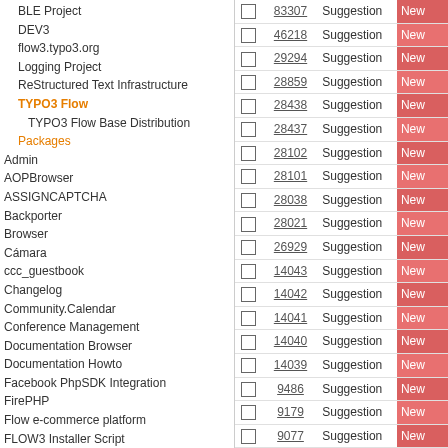BLE Project
DEV3
flow3.typo3.org
Logging Project
ReStructured Text Infrastructure
TYPO3 Flow
TYPO3 Flow Base Distribution
Packages
Admin
AOPBrowser
ASSIGNCAPTCHA
Backporter
Browser
Cámara
ccc_guestbook
Changelog
Community.Calendar
Conference Management
Documentation Browser
Documentation Howto
Facebook PhpSDK Integration
FirePHP
Flow e-commerce platform
FLOW3 Installer Script
Fluid - ViewHelper - Incubator
Fluid Viewhelpertest
FluidBackporter
Foo.ContentManagement
|  | ID | Type | Status |
| --- | --- | --- | --- |
|  | 83307 | Suggestion | New |
|  | 46218 | Suggestion | New |
|  | 29294 | Suggestion | New |
|  | 28859 | Suggestion | New |
|  | 28438 | Suggestion | New |
|  | 28437 | Suggestion | New |
|  | 28102 | Suggestion | New |
|  | 28101 | Suggestion | New |
|  | 28038 | Suggestion | New |
|  | 28021 | Suggestion | New |
|  | 26929 | Suggestion | New |
|  | 14043 | Suggestion | New |
|  | 14042 | Suggestion | New |
|  | 14041 | Suggestion | New |
|  | 14040 | Suggestion | New |
|  | 14039 | Suggestion | New |
|  | 9486 | Suggestion | New |
|  | 9179 | Suggestion | New |
|  | 9077 | Suggestion | New |
|  | 9051 | Suggestion | New |